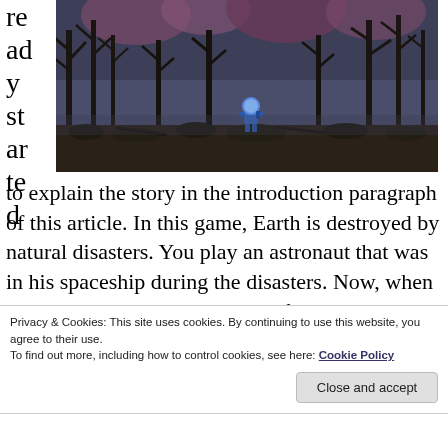ready started
[Figure (screenshot): Game screenshot showing a dark post-apocalyptic forest scene with dead trees and a small blue astronaut character in the center]
to explain the story in the introduction paragraph of this article. In this game, Earth is destroyed by natural disasters. You play an astronaut that was in his spaceship during the disasters. Now, when you descent back to Earth, you find a lamp that aids you to see the past and interact with it. Together with this lamp, you set out on a journey to find your family and explore what's left of the
Privacy & Cookies: This site uses cookies. By continuing to use this website, you agree to their use.
To find out more, including how to control cookies, see here: Cookie Policy
Close and accept